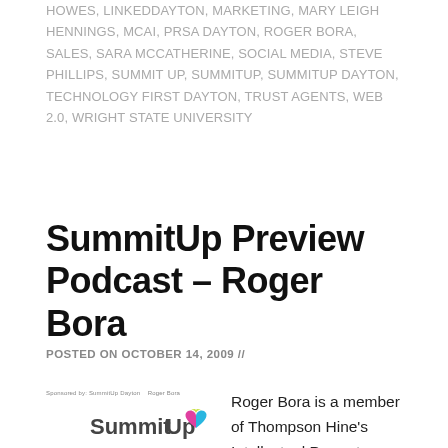HOWES, LINKEDDAYTON, MARKETING, MARY LEIGH HENNINGS, MCAI, PRSA DAYTON, ROGER BORA, SALES, SARA MCCATHERINE, SOCIAL MEDIA, STEVE PHILLIPS, SUMMIT UP, SUMMITUP, SUMMITUP DAYTON, TECHNOLOGY FIRST DAYTON, TRUST AGENTS, WEB 2.0, WRIGHT STATE UNIVERSITY
SummitUp Preview Podcast – Roger Bora
POSTED ON OCTOBER 14, 2009 //
[Figure (logo): SummitUp logo with colorful heart graphic and tagline text above]
Roger Bora is a member of Thompson Hine's Intellectual Property practice group, concentrating his practice in the area of intellectual property law, which includes trademark, passing off, false endorsement, trade dress, copyright, e-commerce and